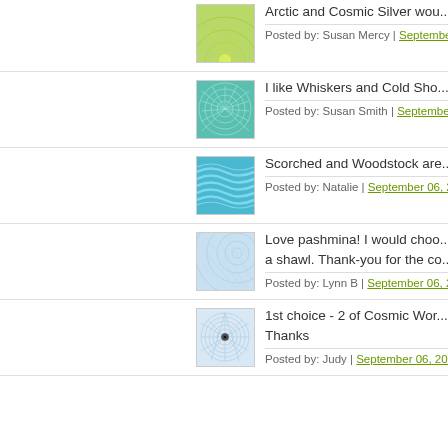Arctic and Cosmic Silver wou... | Posted by: Susan Mercy | September...
I like Whiskers and Cold Sho... | Posted by: Susan Smith | September...
Scorched and Woodstock are... | Posted by: Natalie | September 06, 2...
Love pashmina! I would choo... a shawl. Thank-you for the co... | Posted by: Lynn B | September 06, 2...
1st choice - 2 of Cosmic Wor... Thanks | Posted by: Judy | September 06, 201...